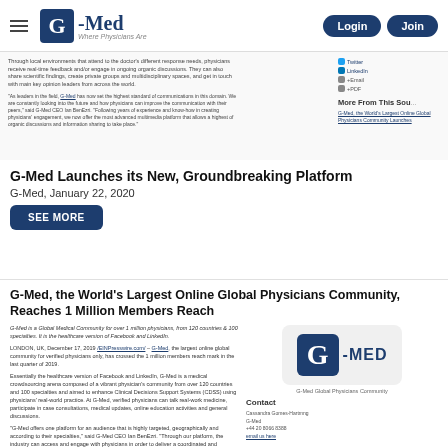G-Med | Where Physicians Are | Login | Join
Through local environments that attend to the doctor's different response needs, physicians receive real-time feedback and/or engage in ongoing organic discussions. They can also share scientific findings, create private groups and multidisciplinary spaces, and get in touch with main key opinion leaders from across the world.
"As leaders in the field, G-Med has set the highest standard of communications in this domain. We are constantly looking into the future and how physicians can improve the communication with their peers," said G-Med CEO Ian BenEzri. "Following years of experience and know-how in creating physicians' engagement, we now offer the most advanced multimedia platform that allows a highest of organic discussions and information sharing to take place."
More From This Sou
G-Med, the World's Largest Online Global Physicians Community Launches
G-Med Launches its New, Groundbreaking Platform
G-Med, January 22, 2020
SEE MORE
G-Med, the World's Largest Online Global Physicians Community, Reaches 1 Million Members Reach
G-Med is a Global Medical Community for over 1 million physicians, from 120 countries & 100 specialties. It is the healthcare version of Facebook and LinkedIn.
LONDON, UK, December 17, 2019 /EINPresswire.com/ – G-Med, the largest online global community for verified physicians only, has crossed the 1 million members reach mark in the last quarter of 2019.
Essentially the healthcare version of Facebook and LinkedIn, G-Med is a medical crowdsourcing arena composed of a vibrant physician's community from over 120 countries and 100 specialties and aimed to enhance Clinical Decisions Support Systems (CDSS) using physicians' real-world practice. At G-Med, verified physicians can talk real-world medicine, participate in case consultations, medical updates, online education activities and general discussions.
"G-Med offers one platform for an audience that is highly targeted, geographically and according to their specialties," said G-Med CEO Ian BenEzri. "Through our platform, the industry can access and engage with physicians in order to deliver a coordinated and consistent message," he said.
"Today we are proud to be the largest global social media community for physicians, providing a wide range of communication and data-driven insight solutions," BenEzri added.
[Figure (logo): G-Med Global Physicians Community logo — large G in dark blue square with G-MED text]
G-Med Global Physicians Community
Contact
Cassandra Gomes-Hartmng
G-Med
+44 20 8066 8388
email us here
Share This Story
Facebook
Twitter
LinkedIn
+Email
+ PDF
More From This Source
G-Med, the World's Largest Online Global Physicians Community Launches & Stay Communities